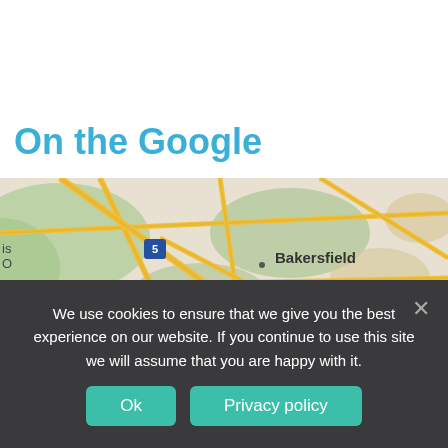On the Google
[Figure (map): Google Maps showing Bakersfield, California and surrounding region with highways including Interstate 5, 15, and 40. Shows city labels including Bakersfield, Santa Maria. Roads rendered in yellow on a tan/green background.]
We use cookies to ensure that we give you the best experience on our website. If you continue to use this site we will assume that you are happy with it.